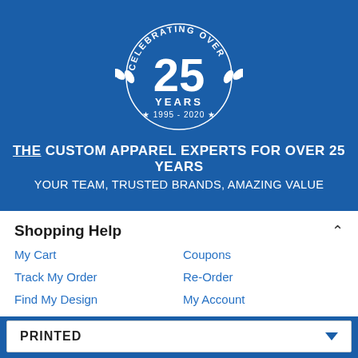[Figure (logo): Circular badge with laurel wreath, text 'CELEBRATING OVER 25 YEARS' and '★ 1995 - 2020 ★' on blue background]
THE CUSTOM APPAREL EXPERTS FOR OVER 25 YEARS
YOUR TEAM, TRUSTED BRANDS, AMAZING VALUE
Shopping Help
My Cart
Coupons
Track My Order
Re-Order
Find My Design
My Account
PRINTED
START DESIGNING